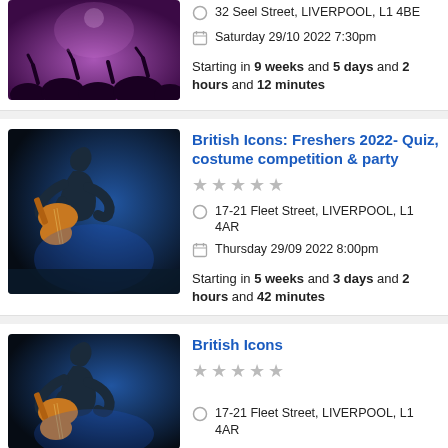[Figure (photo): Concert crowd with purple lighting and raised hands silhouetted]
32 Seel Street, LIVERPOOL, L1 4BE
Saturday 29/10 2022 7:30pm
Starting in 9 weeks and 5 days and 2 hours and 12 minutes
[Figure (photo): Guitarist on stage with blue concert lighting]
British Icons: Freshers 2022- Quiz, costume competition & party
17-21 Fleet Street, LIVERPOOL, L1 4AR
Thursday 29/09 2022 8:00pm
Starting in 5 weeks and 3 days and 2 hours and 42 minutes
[Figure (photo): Guitarist on stage with blue concert lighting]
British Icons
17-21 Fleet Street, LIVERPOOL, L1 4AR